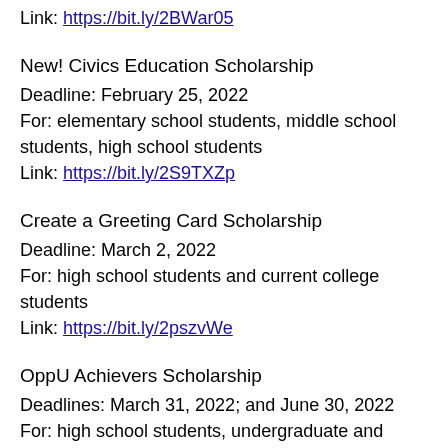Link: https://bit.ly/2BWar05
New! Civics Education Scholarship
Deadline: February 25, 2022
For: elementary school students, middle school students, high school students
Link: https://bit.ly/2S9TXZp
Create a Greeting Card Scholarship
Deadline: March 2, 2022
For: high school students and current college students
Link: https://bit.ly/2pszvWe
OppU Achievers Scholarship
Deadlines: March 31, 2022; and June 30, 2022
For: high school students, undergraduate and